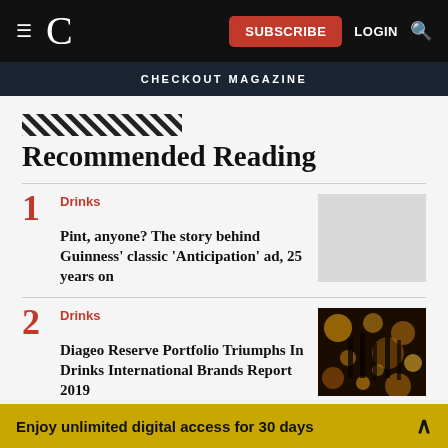C  SUBSCRIBE  LOGIN
CHECKOUT MAGAZINE
Recommended Reading
1 Drinks — Pint, anyone? The story behind Guinness' classic 'Anticipation' ad, 25 years on
2 Drinks — Diageo Reserve Portfolio Triumphs In Drinks International Brands Report 2019
Enjoy unlimited digital access for 30 days